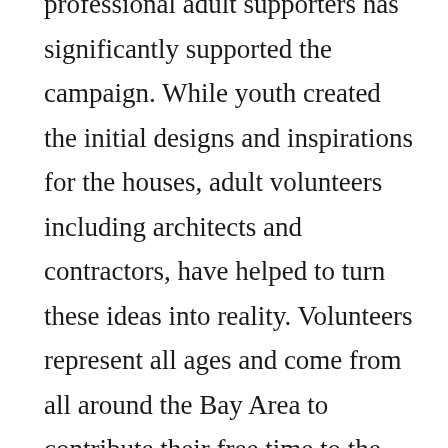professional adult supporters has significantly supported the campaign. While youth created the initial designs and inspirations for the houses, adult volunteers including architects and contractors, have helped to turn these ideas into reality. Volunteers represent all ages and come from all around the Bay Area to contribute their free time to the cause. In fact, students from Oakland Tech have been actively involved in the building process for the past several months. All of these volunteers take on a variety of tasks on “Build Days,” which currently happen on Saturdays and Sundays. Volunteer tasks include building the frames of the houses, installing interior drywall and closets, making planter boxes, and completing other tasks throughout